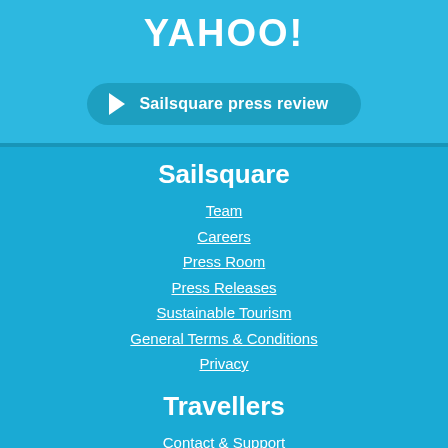[Figure (logo): Yahoo! logo in white text on light blue background]
Sailsquare press review
Sailsquare
Team
Careers
Press Room
Press Releases
Sustainable Tourism
General Terms & Conditions
Privacy
Travellers
Contact & Support
Blog